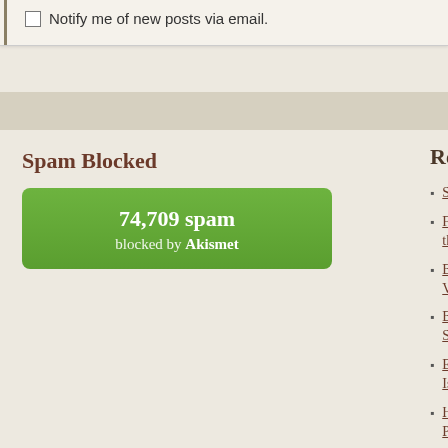Notify me of new posts via email.
Spam Blocked
[Figure (infographic): Green rounded rectangle Akismet spam counter showing '74,709 spam blocked by Akismet']
Recent Posts
Sad News to ...
Finding wond... the mountains...
Big Cedar & H... Vancouver: A...
Big views and... Seymour—No...
Exploring Brit... Island on e-bi...
Hut-to-hut hik... Park
The Rockwall... Park, British C...